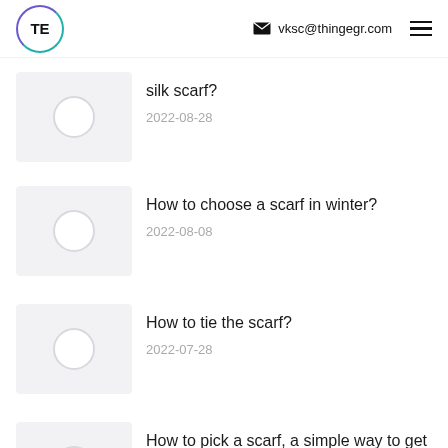TE | vksc@thingegr.com
silk scarf?
2022-08-28
How to choose a scarf in winter?
2022-08-08
How to tie the scarf?
2022-07-28
How to pick a scarf, a simple way to get it quickly!
2022-06-28